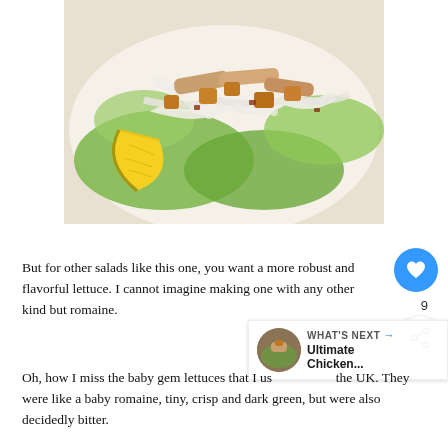[Figure (photo): A Caesar salad on a white plate with grilled chicken strips, croutons, white creamy dressing drizzled on top, green romaine lettuce leaves, and a lemon wedge on the side.]
But for other salads like this one, you want a more robust and flavorful lettuce. I cannot imagine making one with any other kind but romaine.
Oh, how I miss the baby gem lettuces that I used to get in the UK. They were like a baby romaine, tiny, crisp and dark green, but were also decidedly bitter.